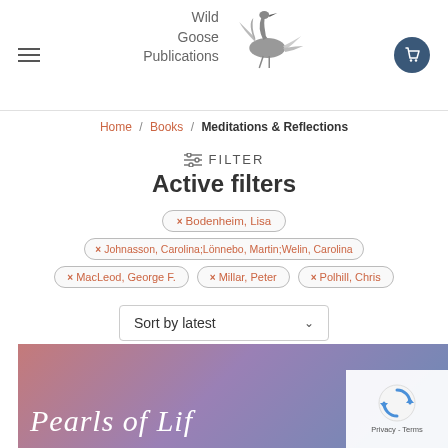[Figure (logo): Wild Goose Publications logo with stork/heron bird illustration and text]
Home / Books / Meditations & Reflections
≡ FILTER
Active filters
× Bodenheim, Lisa
× Johnasson, Carolina;Lönnebo, Martin;Welin, Carolina
× MacLeod, George F.
× Millar, Peter
× Polhill, Chris
Sort by latest
[Figure (photo): Book cover of 'Pearls of Life' with gradient pink/purple/blue background and white italic text]